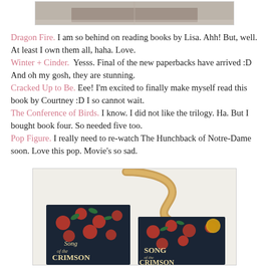[Figure (photo): Top partial photo of books on a wooden surface with small plant, cropped at top of page]
Dragon Fire. I am so behind on reading books by Lisa. Ahh! But, well. At least I own them all, haha. Love. Winter + Cinder. Yesss. Final of the new paperbacks have arrived :D And oh my gosh, they are stunning. Cracked Up to Be. Eee! I'm excited to finally make myself read this book by Courtney :D I so cannot wait. The Conference of Birds. I know. I did not like the trilogy. Ha. But I bought book four. So needed five too. Pop Figure. I really need to re-watch The Hunchback of Notre-Dame soon. Love this pop. Movie's so sad.
[Figure (photo): Photo of two copies of 'Song of the Crimson Flower' books with a metallic golden snake prop on top, on a white background]